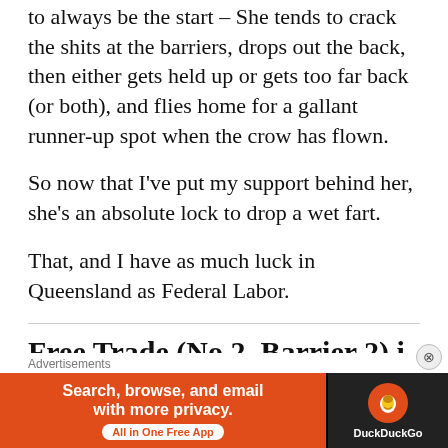to always be the start – She tends to crack the shits at the barriers, drops out the back, then either gets held up or gets too far back (or both), and flies home for a gallant runner-up spot when the crow has flown.
So now that I've put my support behind her, she's an absolute lock to drop a wet fart.
That, and I have as much luck in Queensland as Federal Labor.
Free Trade (No 2, Barrier 2) i…
[Figure (infographic): DuckDuckGo advertisement banner: 'Search, browse, and email with more privacy. All in One Free App' with DuckDuckGo logo on right side.]